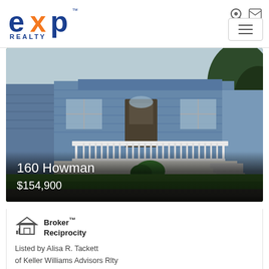[Figure (logo): eXp Realty logo — blue 'exp' with orange x and 'REALTY' text below]
[Figure (photo): Exterior photo of a blue single-story house with white porch railing and green lawn, overlaid with address '160 Howman' and price '$154,900']
160 Howman
$154,900
[Figure (logo): Broker Reciprocity logo with house icon]
Broker™
Reciprocity
Listed by Alisa R. Tackett
of Keller Williams Advisors Rlty